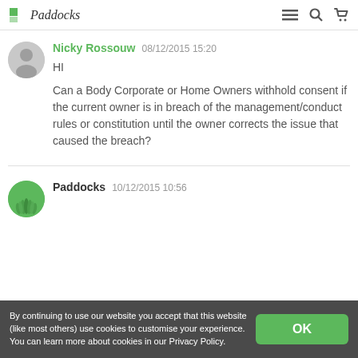Paddocks
Nicky Rossouw  08/12/2015 15:20

HI

Can a Body Corporate or Home Owners withhold consent if the current owner is in breach of the management/conduct rules or constitution until the owner corrects the issue that caused the breach?
Paddocks  10/12/2015 10:56
By continuing to use our website you accept that this website (like most others) use cookies to customise your experience. You can learn more about cookies in our Privacy Policy.